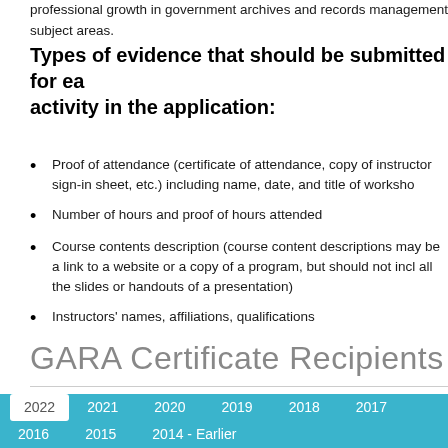professional growth in government archives and records management subject areas.
Types of evidence that should be submitted for each activity in the application:
Proof of attendance (certificate of attendance, copy of instructor sign-in sheet, etc.) including name, date, and title of workshop
Number of hours and proof of hours attended
Course contents description (course content descriptions may be a link to a website or a copy of a program, but should not include all the slides or handouts of a presentation)
Instructors' names, affiliations, qualifications
GARA Certificate Recipients
| 2022 | 2021 | 2020 | 2019 | 2018 | 2017 | 2016 | 2015 | 2014 - Earlier |
| --- | --- | --- | --- | --- | --- | --- | --- | --- |